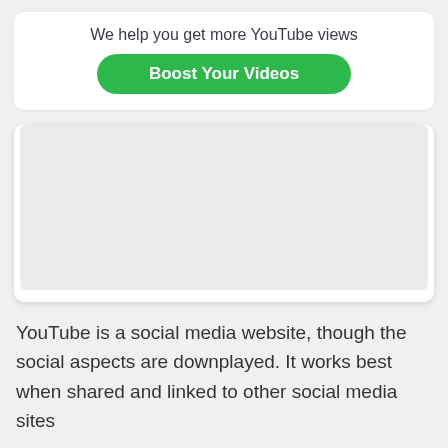We help you get more YouTube views
Boost Your Videos
[Figure (other): A blank/grey placeholder image box with white card background and rounded corners]
YouTube is a social media website, though the social aspects are downplayed. It works best when shared and linked to other social media sites